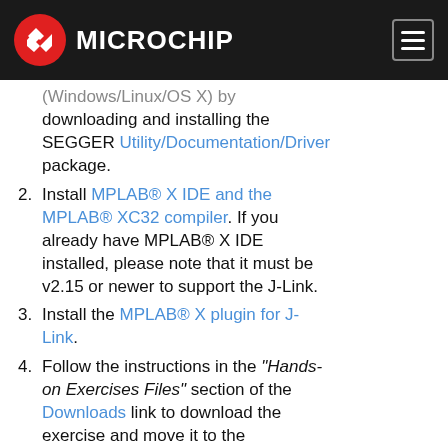Microchip
(Windows/Linux/OS X) by downloading and installing the SEGGER Utility/Documentation/Driver package.
Install MPLAB® X IDE and the MPLAB® XC32 compiler. If you already have MPLAB® X IDE installed, please note that it must be v2.15 or newer to support the J-Link.
Install the MPLAB® X plugin for J-Link.
Follow the instructions in the "Hands-on Exercises Files" section of the Downloads link to download the exercise and move it to the appropriate location.